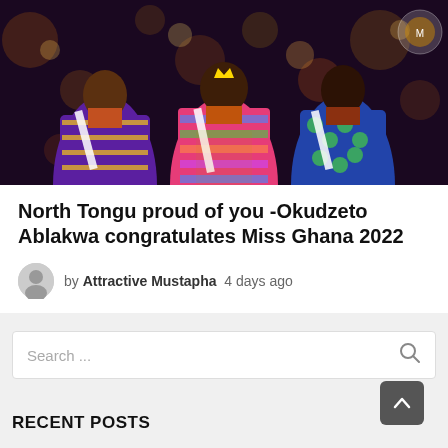[Figure (photo): Three women in colorful traditional African dresses on a stage with bokeh lights in the background, appearing to be at a pageant event.]
North Tongu proud of you -Okudzeto Ablakwa congratulates Miss Ghana 2022
by Attractive Mustapha  4 days ago
Search ...
RECENT POSTS